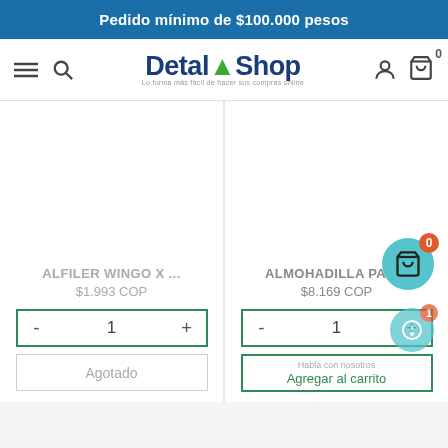Pedido mínimo de $100.000 pesos
[Figure (logo): DetalShop logo with hamburger menu, search icon, user icon, and cart icon with badge 0]
ALFILER WINGO X ...
$1.993 COP
ALMOHADILLA PAR...
$8.169 COP
- 1 +
- 1 +
Agotado
Habla con nosotros
Agregar al carrito